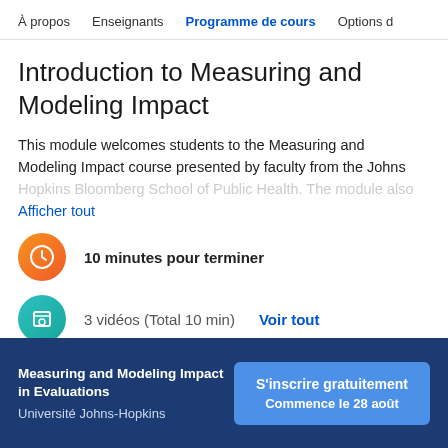À propos   Enseignants   Programme de cours   Options d
Introduction to Measuring and Modeling Impact
This module welcomes students to the Measuring and Modeling Impact course presented by faculty from the Johns Hopkins Bloomberg School of Public Health. The module also
Afficher tout
10 minutes pour terminer
3 vidéos (Total 10 min)   Voir tout
Measuring and Modeling Impact in Evaluations
Université Johns-Hopkins
S'inscrire gratuitement
Commence le 28 août